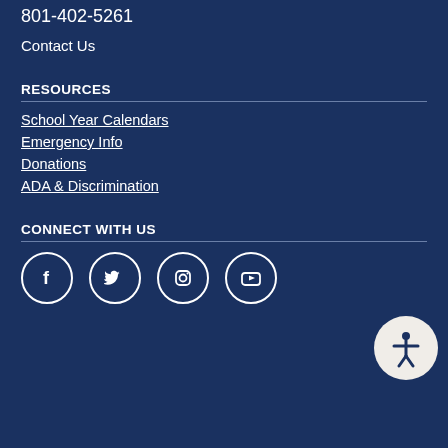801-402-5261
Contact Us
RESOURCES
School Year Calendars
Emergency Info
Donations
ADA & Discrimination
CONNECT WITH US
[Figure (illustration): Four social media icons in white circles: Facebook, Twitter, Instagram, YouTube. Accessibility button in bottom right corner.]